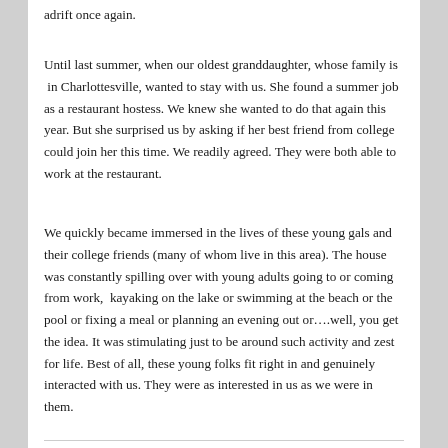adrift once again.
Until last summer, when our oldest granddaughter, whose family is  in Charlottesville, wanted to stay with us. She found a summer job as a restaurant hostess. We knew she wanted to do that again this year. But she surprised us by asking if her best friend from college could join her this time. We readily agreed. They were both able to work at the restaurant.
We quickly became immersed in the lives of these young gals and their college friends (many of whom live in this area). The house was constantly spilling over with young adults going to or coming from work,  kayaking on the lake or swimming at the beach or the pool or fixing a meal or planning an evening out or….well, you get the idea. It was stimulating just to be around such activity and zest for life. Best of all, these young folks fit right in and genuinely interacted with us. They were as interested in us as we were in them.